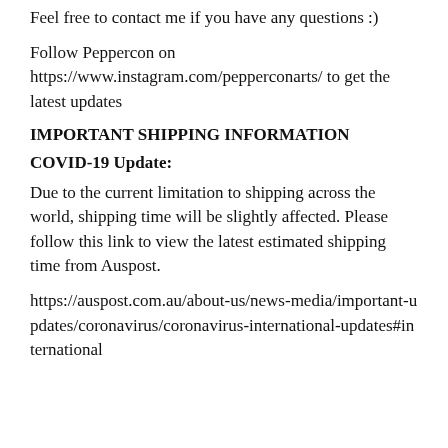Feel free to contact me if you have any questions :)
Follow Peppercon on https://www.instagram.com/pepperconarts/ to get the latest updates
IMPORTANT SHIPPING INFORMATION
COVID-19 Update:
Due to the current limitation to shipping across the world, shipping time will be slightly affected. Please follow this link to view the latest estimated shipping time from Auspost.
https://auspost.com.au/about-us/news-media/important-updates/coronavirus/coronavirus-international-updates#international